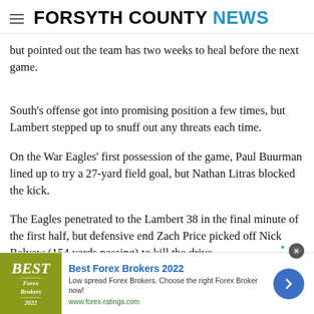FORSYTH COUNTY NEWS
but pointed out the team has two weeks to heal before the next game.
South's offense got into promising position a few times, but Lambert stepped up to snuff out any threats each time.
On the War Eagles' first possession of the game, Paul Buurman lined up to try a 27-yard field goal, but Nathan Litras blocked the kick.
The Eagles penetrated to the Lambert 38 in the final minute of the first half, but defensive end Zach Price picked off Nick Belyew (154 yards passing) to kill the drive.
[Figure (other): Advertisement banner: Best Forex Brokers 2022. Low spread Forex Brokers. Choose the right Forex Broker now! www.forex-ratings.com]